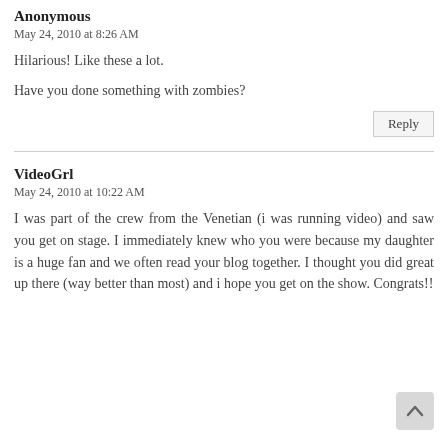Anonymous
May 24, 2010 at 8:26 AM
Hilarious! Like these a lot.
Have you done something with zombies?
VideoGrl
May 24, 2010 at 10:22 AM
I was part of the crew from the Venetian (i was running video) and saw you get on stage. I immediately knew who you were because my daughter is a huge fan and we often read your blog together. I thought you did great up there (way better than most) and i hope you get on the show. Congrats!!